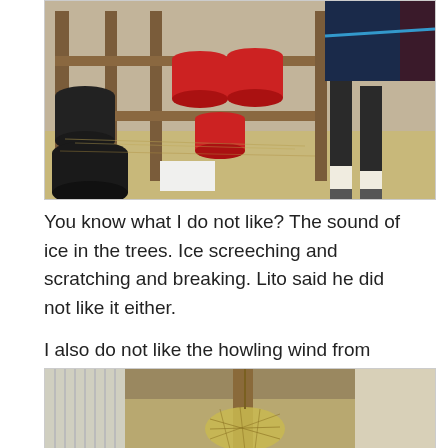[Figure (photo): A barn or stable area with wooden shelves holding red and black buckets, hay on the ground, and a horse's legs visible on the right wearing a dark blanket, tied with a blue rope.]
You know what I do not like? The sound of ice in the trees. Ice screeching and scratching and breaking. Lito said he did not like it either.
I also do not like the howling wind from inside the house for that matter.
[Figure (photo): Interior of a barn with wooden/corrugated metal walls and a large hay net hanging from the ceiling.]